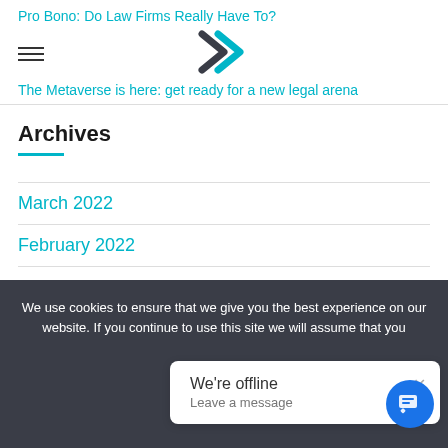Pro Bono: Do Law Firms Really Have To?
The Metaverse is here: get ready for a new legal arena
Archives
March 2022
February 2022
January 2022
December 2021
November 2021
We use cookies to ensure that we give you the best experience on our website. If you continue to use this site we will assume that you
We're offline
Leave a message